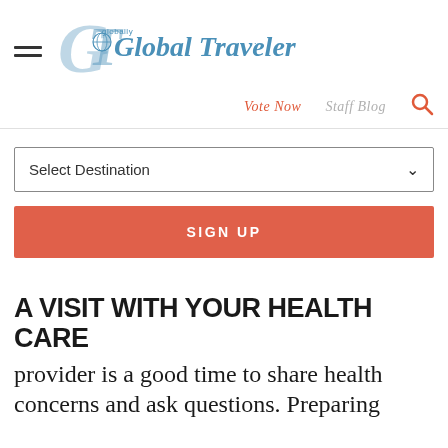[Figure (logo): Global Traveler magazine logo with stylized GT letters in blue and the text 'Global Traveler' in italic blue serif font, with 'globally' in small text above]
Vote Now   Staff Blog
Select Destination
SIGN UP
A VISIT WITH YOUR HEALTH CARE
provider is a good time to share health concerns and ask questions. Preparing